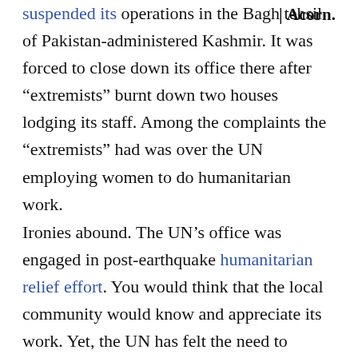suspended its operations in the Bagh tehsil of Pakistan-administered Kashmir. It was forced to close down its office there after “extremists” burnt down two houses lodging its staff. Among the complaints the “extremists” had was over the UN employing women to do humanitarian work.
Ironies abound. The UN’s office was engaged in post-earthquake humanitarian relief effort. You would think that the local community would know and appreciate its work. Yet, the UN has felt the need to develop a PR plan “to better inform the